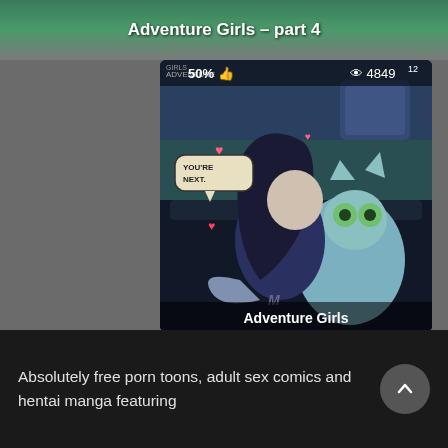Adventure Girls – part 4
[Figure (illustration): Animated cartoon illustration card showing two female characters embracing. Stats overlay shows 50% thumbs up rating and 4849 views with superscript 12. Title overlay reads 'Adventure Girls'. Speech bubble reads 'YOU'RE NEXT.']
Absolutely free porn toons, adult sex comics and hentai manga featuring